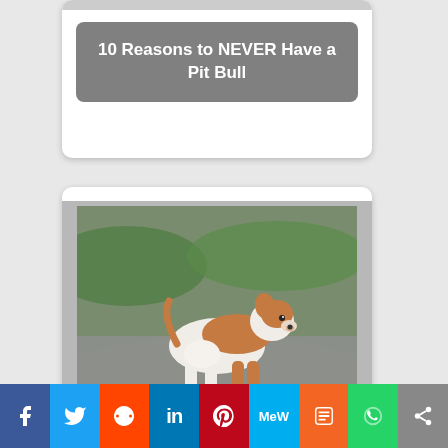[Figure (photo): Card with text label '10 Reasons to NEVER Have a Pit Bull' on dark semi-transparent background]
10 Reasons to NEVER Have a Pit Bull
[Figure (photo): Pit bull puppy standing on pavement, brown and white coloring, looking alert]
How to Educate a PitBull Puppy
[Figure (photo): Brown dog lying on green grass, wearing blue collar, looking up]
Facebook | Twitter | Reddit | LinkedIn | Pinterest | MeWe | Mix | WhatsApp | Share